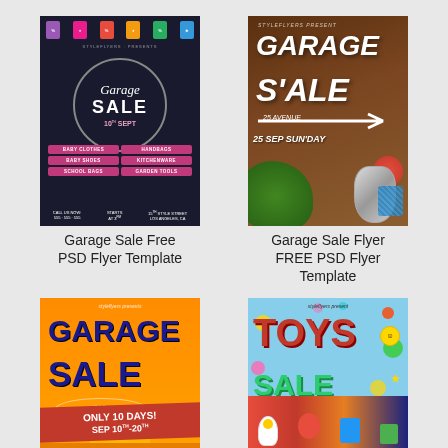[Figure (illustration): Dark chalkboard-style garage sale flyer with colorful price tags hanging at top, circular design with cursive text, pink pill-shaped buttons listing items: Baby Clothes, Handbags, Baby Shoes, Kitchenware, School Bags, Garden Tools, date 10th Sept]
Garage Sale Free PSD Flyer Template
[Figure (illustration): Rustic wood-background garage sale flyer with white chalk-style text reading GARAGE SALE, arrow shape, date 25 Sep Sunday, with plants and metallic kettle in foreground]
Garage Sale Flyer FREE PSD Flyer Template
[Figure (illustration): Bright orange/yellow garage sale flyer with bold dark blue text GARAGE SALE, red ribbon banner reading ONLY 10 DAYS! SEP 10TH-20TH]
[Figure (illustration): Colorful toys sale flyer with light blue polka dot background, red TOYS text, green SALE text, toys image at bottom, yellow NAMESHOP banner]